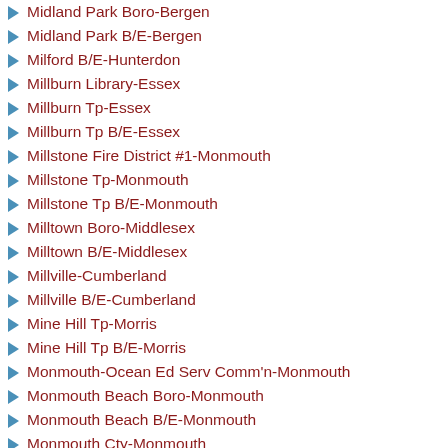Midland Park Boro-Bergen
Midland Park B/E-Bergen
Milford B/E-Hunterdon
Millburn Library-Essex
Millburn Tp-Essex
Millburn Tp B/E-Essex
Millstone Fire District #1-Monmouth
Millstone Tp-Monmouth
Millstone Tp B/E-Monmouth
Milltown Boro-Middlesex
Milltown B/E-Middlesex
Millville-Cumberland
Millville B/E-Cumberland
Mine Hill Tp-Morris
Mine Hill Tp B/E-Morris
Monmouth-Ocean Ed Serv Comm'n-Monmouth
Monmouth Beach Boro-Monmouth
Monmouth Beach B/E-Monmouth
Monmouth Cty-Monmouth
Monmouth Cty Health Bd-Monmouth
Monmouth Cty Judiciary-Monmouth